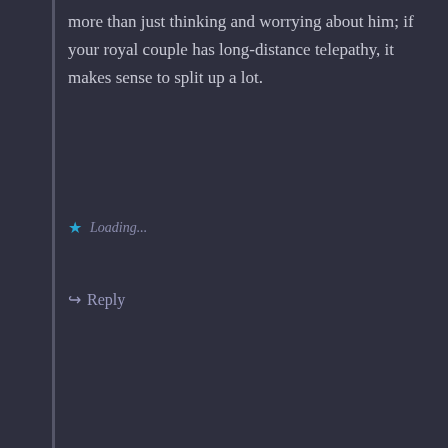more than just thinking and worrying about him; if your royal couple has long-distance telepathy, it makes sense to split up a lot.
Loading...
↳ Reply
Fred
July 25, 2022 at 9:16 am
There was a game called “Legion” where you did just what is described here. You planned the battle beforehand, deploying the units and giving them basic orders. When the battle started you could